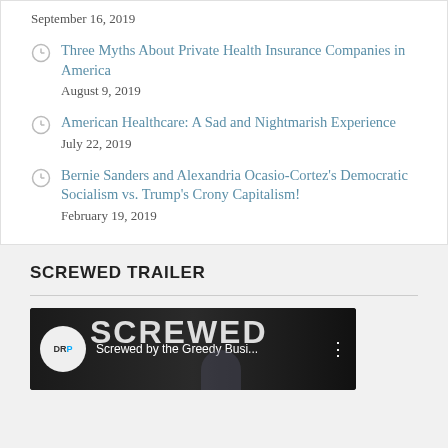September 16, 2019
Three Myths About Private Health Insurance Companies in America
August 9, 2019
American Healthcare: A Sad and Nightmarish Experience
July 22, 2019
Bernie Sanders and Alexandria Ocasio-Cortez's Democratic Socialism vs. Trump's Crony Capitalism!
February 19, 2019
SCREWED TRAILER
[Figure (screenshot): Video thumbnail for 'Screwed by the Greedy Busi...' with DRP logo and large SCREWED text overlay on dark background with robot imagery]